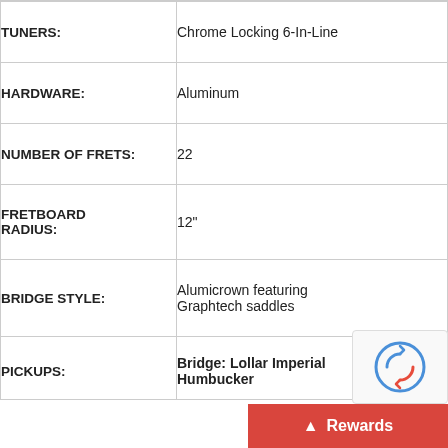| Specification | Value |
| --- | --- |
| TUNERS: | Chrome Locking 6-In-Line |
| HARDWARE: | Aluminum |
| NUMBER OF FRETS: | 22 |
| FRETBOARD RADIUS: | 12" |
| BRIDGE STYLE: | Alumicrown featuring Graphtech saddles |
| PICKUPS: | Bridge: Lollar Imperial Humbucker |